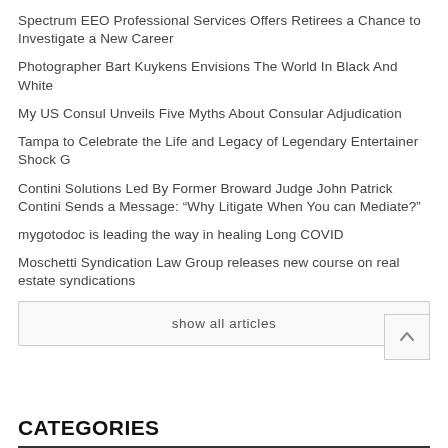Spectrum EEO Professional Services Offers Retirees a Chance to Investigate a New Career
Photographer Bart Kuykens Envisions The World In Black And White
My US Consul Unveils Five Myths About Consular Adjudication
Tampa to Celebrate the Life and Legacy of Legendary Entertainer Shock G
Contini Solutions Led By Former Broward Judge John Patrick Contini Sends a Message: “Why Litigate When You can Mediate?”
mygotodoc is leading the way in healing Long COVID
Moschetti Syndication Law Group releases new course on real estate syndications
show all articles
CATEGORIES